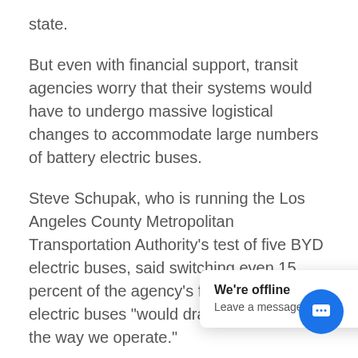state.
But even with financial support, transit agencies worry that their systems would have to undergo massive logistical changes to accommodate large numbers of battery electric buses.
Steve Schupak, who is running the Los Angeles County Metropolitan Transportation Authority's test of five BYD electric buses, said switching even 15 percent of the agency's fleet over to electric buses “would drastically change the way we operate.”
With renewable natural gas, the industry argues, buses can achieve “near zero” emissions without the higher cost of vehi… still … en on the road in large n…
We’re offline
Leave a message